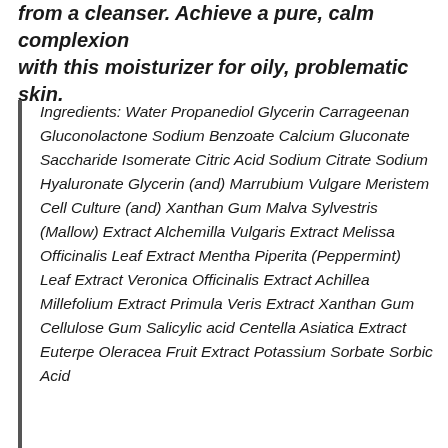from a cleanser. Achieve a pure, calm complexion with this moisturizer for oily, problematic skin.
Ingredients: Water Propanediol Glycerin Carrageenan Gluconolactone Sodium Benzoate Calcium Gluconate Saccharide Isomerate Citric Acid Sodium Citrate Sodium Hyaluronate Glycerin (and) Marrubium Vulgare Meristem Cell Culture (and) Xanthan Gum Malva Sylvestris (Mallow) Extract Alchemilla Vulgaris Extract Melissa Officinalis Leaf Extract Mentha Piperita (Peppermint) Leaf Extract Veronica Officinalis Extract Achillea Millefolium Extract Primula Veris Extract Xanthan Gum Cellulose Gum Salicylic acid Centella Asiatica Extract Euterpe Oleracea Fruit Extract Potassium Sorbate Sorbic Acid